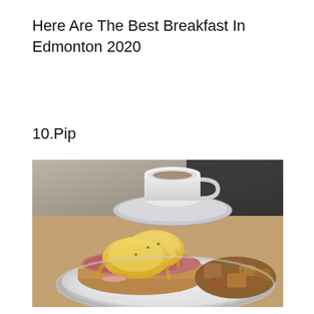Here Are The Best Breakfast In Edmonton 2020
10.Pip
[Figure (photo): A plate of eggs Benedict with hollandaise sauce over ham on toast, accompanied by roasted potatoes, with a coffee cup and saucer in the background on a wooden table.]